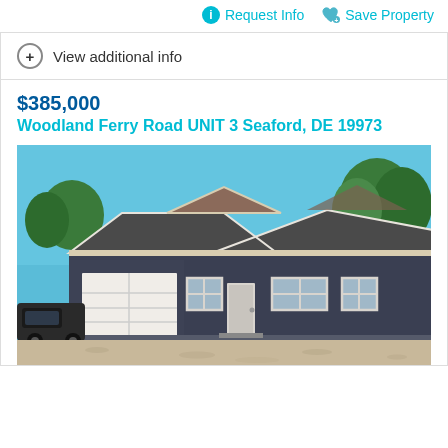Request Info   Save Property
View additional info
$385,000
Woodland Ferry Road UNIT 3 Seaford, DE 19973
[Figure (photo): Exterior photo of a single-story ranch-style home with dark blue/gray siding, gray roof, white garage door on left, front door in center, two windows on each side, blue sky with trees in background, sandy gravel driveway in foreground, pickup truck parked on left.]